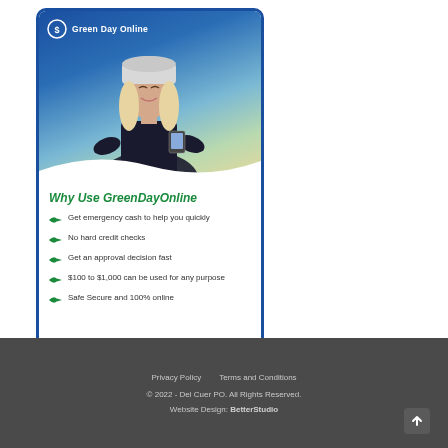[Figure (photo): Green Day Online promotional card showing a woman smiling and looking at a phone, with a winter hat on, outdoors with trees in background. Card has a blue border and white background with green logo in top corner.]
Why Use GreenDayOnline
Get emergency cash to help you quickly
No hard credit checks
Get an approval decision fast
$100 to $1,000 can be used for any purpose
Safe Secure and 100% online
Privacy Policy    Terms and Conditions
© 2022 - Del Cuer PO. All Rights Reserved.
Website Design: BetterStudio